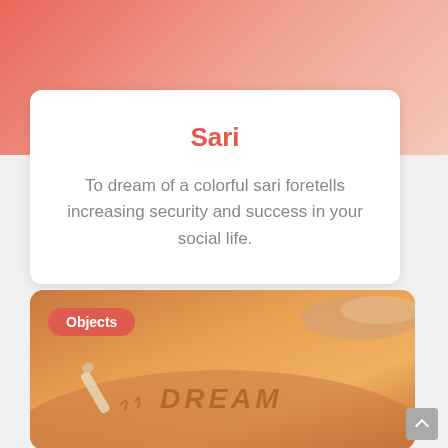Sari
To dream of a colorful sari foretells increasing security and success in your social life.
[Figure (photo): Beach sand photo with the word DREAM written in the sand, with a bottle and waves in the background. An 'Objects' category badge is overlaid in the top-left corner.]